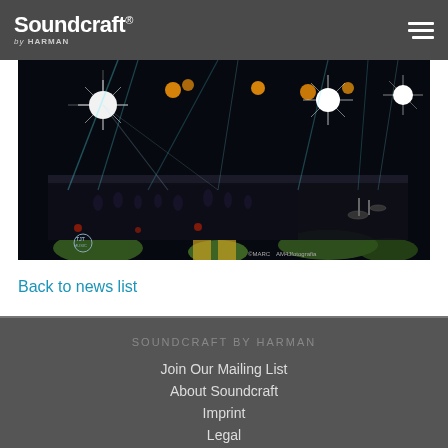Soundcraft by HARMAN — navigation header
[Figure (photo): Concert/live event photo showing an orchestra or large band on stage with dramatic stage lighting including bright white spotlights radiating outward, colorful moving head lights, and green floor lighting. TJT MUSIC logo visible bottom left, photographer credit bottom right: ©MARCAM4Jfotografia]
Back to news list
SOUNDCRAFT BY HARMAN
Join Our Mailing List
About Soundcraft
Imprint
Legal